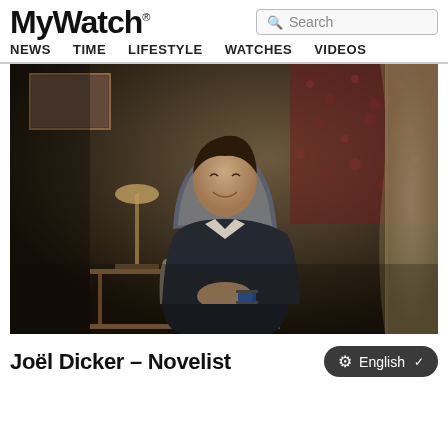MyWatch® — NEWS  TIME  LIFESTYLE  WATCHES  VIDEOS
[Figure (photo): A young man in a dark suit sits in an antique armchair, smiling, wearing a watch on his wrist. The room has dim warm lighting, floral wallpaper, a side table with a lamp, and curtained windows.]
Joël Dicker – Novelist
English